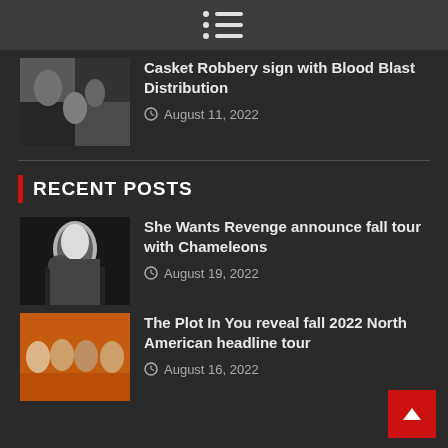Navigation menu icon
[Figure (photo): Black and white band photo for Casket Robbery article]
Casket Robbery sign with Blood Blast Distribution
August 11, 2022
RECENT POSTS
[Figure (photo): Black and white portrait photo for She Wants Revenge article]
She Wants Revenge announce fall tour with Chameleons
August 19, 2022
[Figure (photo): Orange background band photo for The Plot In You article]
The Plot In You reveal fall 2022 North American headline tour
August 16, 2022